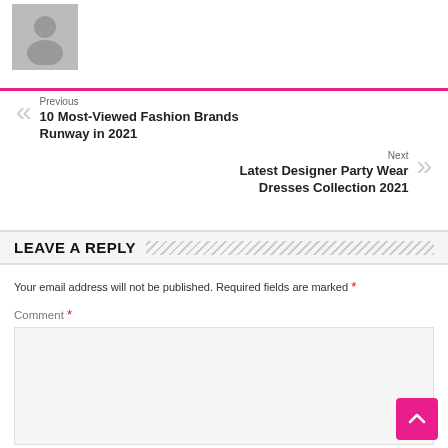[Figure (illustration): Gray avatar/profile silhouette placeholder image]
Previous
10 Most-Viewed Fashion Brands Runway in 2021
Next
Latest Designer Party Wear Dresses Collection 2021
LEAVE A REPLY
Your email address will not be published. Required fields are marked *
Comment *